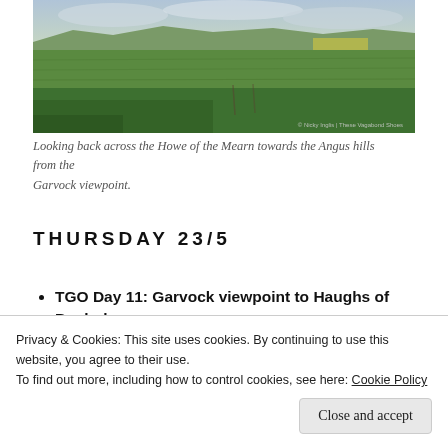[Figure (photo): Landscape photo looking back across the Howe of the Mearn towards the Angus hills from the Garvock viewpoint. Wide panoramic view of green fields and farmland under a cloudy sky. A watermark reads '© Nicky Inglis | These Vagabond Shoes'.]
Looking back across the Howe of the Mearn towards the Angus hills from the Garvock viewpoint.
THURSDAY 23/5
TGO Day 11: Garvock viewpoint to Haughs of Benholm
Privacy & Cookies: This site uses cookies. By continuing to use this website, you agree to their use. To find out more, including how to control cookies, see here: Cookie Policy